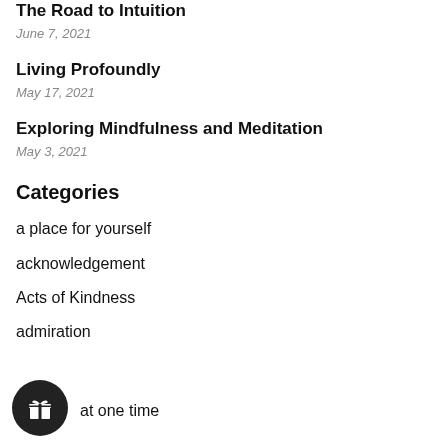The Road to Intuition
June 7, 2021
Living Profoundly
May 17, 2021
Exploring Mindfulness and Meditation
May 3, 2021
Categories
a place for yourself
acknowledgement
Acts of Kindness
admiration
at one time